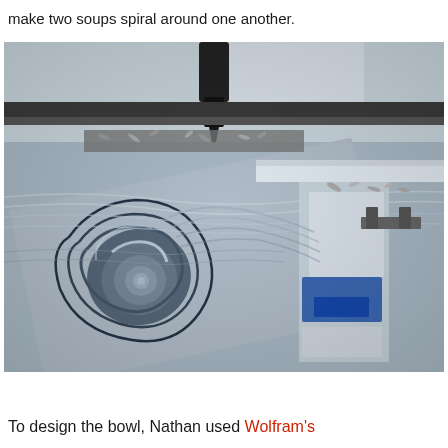make two soups spiral around one another.
[Figure (photo): A CNC milling machine cutting a complex spiral bowl shape into a metallic block. The machined surface shows concentric swirling grooves creating a spiral pattern. Metal shavings and debris are visible around the workpiece, which is clamped in a milling machine bed. Blue fixtures and clamps are visible on the right side.]
To design the bowl, Nathan used Wolfram's